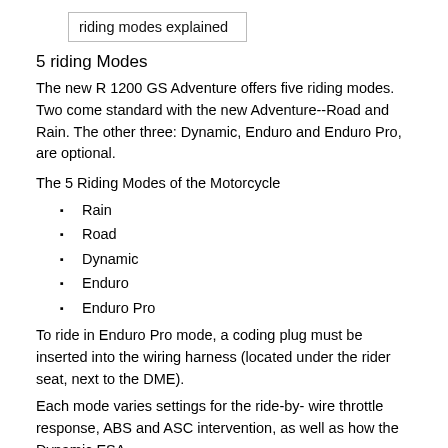riding modes explained
5 riding Modes
The new R 1200 GS Adventure offers five riding modes. Two come standard with the new Adventure--Road and Rain. The other three: Dynamic, Enduro and Enduro Pro, are optional.
The 5 Riding Modes of the Motorcycle
Rain
Road
Dynamic
Enduro
Enduro Pro
To ride in Enduro Pro mode, a coding plug must be inserted into the wiring harness (located under the rider seat, next to the DME).
Each mode varies settings for the ride-by- wire throttle response, ABS and ASC intervention, as well as how the Dynamic ESA